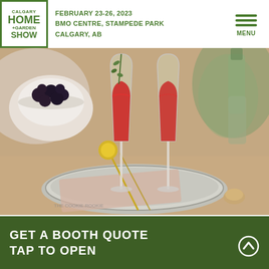Calgary Home + Garden Show | February 23-26, 2023 | BMO Centre, Stampede Park | Calgary, AB
[Figure (photo): Two champagne flutes filled with red cocktails garnished with rosemary sprigs, sitting on a silver tray with gold candy skewers, a white bowl of dark berries in background, cork and bottle visible]
Image via the Cookie Rookie
GET A BOOTH QUOTE
TAP TO OPEN